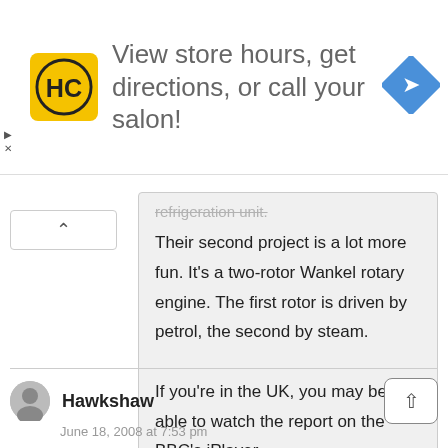[Figure (other): Advertisement banner: HC hair salon logo (yellow square with HC letters), text 'View store hours, get directions, or call your salon!', blue diamond direction icon on right. Close/play buttons on left side.]
refrigeration unit.
Their second project is a lot more fun. It's a two-rotor Wankel rotary engine. The first rotor is driven by petrol, the second by steam.

If you're in the UK, you may be able to watch the report on the BBC's iPlayer.
Hawkshaw
June 18, 2008 at 7:53 pm